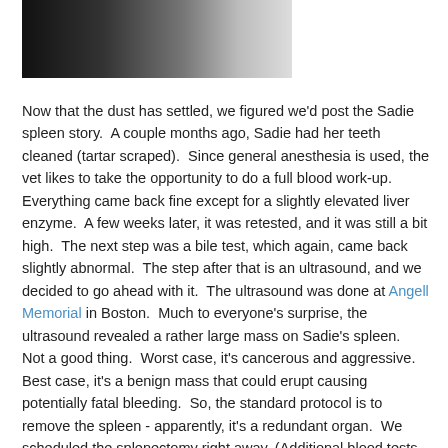[Figure (photo): Partial photo showing a person, cropped, dark background with a white shirt visible]
Now that the dust has settled, we figured we'd post the Sadie spleen story.  A couple months ago, Sadie had her teeth cleaned (tartar scraped).  Since general anesthesia is used, the vet likes to take the opportunity to do a full blood work-up.  Everything came back fine except for a slightly elevated liver enzyme.  A few weeks later, it was retested, and it was still a bit high.  The next step was a bile test, which again, came back slightly abnormal.  The step after that is an ultrasound, and we decided to go ahead with it.  The ultrasound was done at Angell Memorial in Boston.  Much to everyone's surprise, the ultrasound revealed a rather large mass on Sadie's spleen.  Not a good thing.  Worst case, it's cancerous and aggressive.  Best case, it's a benign mass that could erupt causing potentially fatal bleeding.  So, the standard protocol is to remove the spleen - apparently, it's a redundant organ.  We scheduled the splenectomy right away. (Additional blood tests and x-rays came back favorable, not showing any spread of possible cancer.)